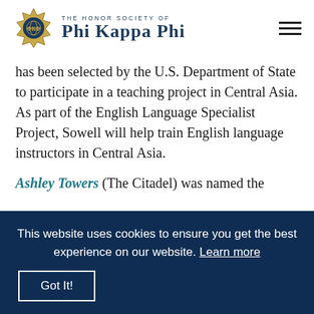The Honor Society of Phi Kappa Phi
has been selected by the U.S. Department of State to participate in a teaching project in Central Asia. As part of the English Language Specialist Project, Sowell will help train English language instructors in Central Asia.
Ashley Towers (The Citadel) was named the
This website uses cookies to ensure you get the best experience on our website. Learn more
Got It!